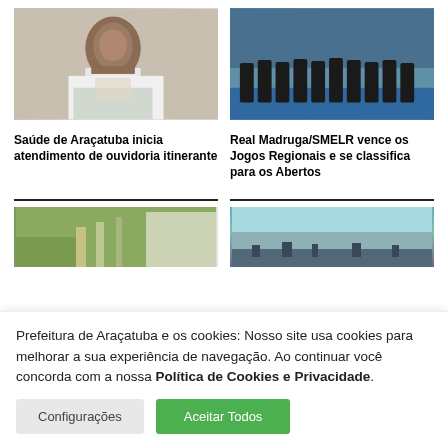[Figure (photo): Doctor with stethoscope and headset in medical office]
[Figure (photo): Sports team in black uniforms posing in gymnasium]
Saúde de Araçatuba inicia atendimento de ouvidoria itinerante
Real Madruga/SMELR vence os Jogos Regionais e se classifica para os Abertos
[Figure (photo): Thumbnail image with outdoor/nature scene]
[Figure (photo): Thumbnail image with cityscape/landscape at dusk]
Prefeitura de Araçatuba e os cookies: Nosso site usa cookies para melhorar a sua experiência de navegação. Ao continuar você concorda com a nossa Política de Cookies e Privacidade.